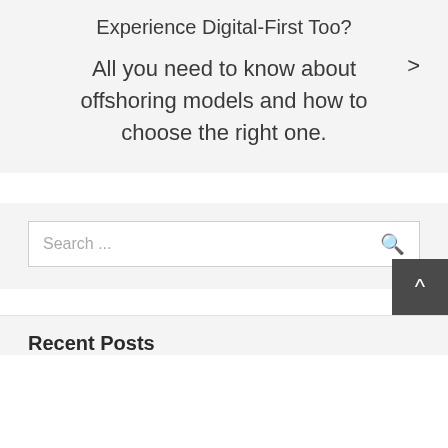Experience Digital-First Too?
> All you need to know about offshoring models and how to choose the right one.
Search ...
Recent Posts